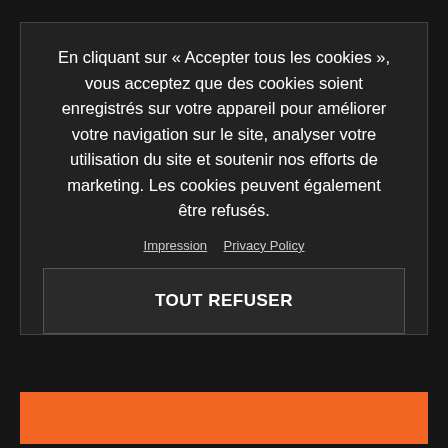The development of the KTM X-Bow GT4 is a success story through to this day. Motor racing specialist Dallara, the German racing car constructor Reiter Engineering and the engineering service provider KTM Technologies both played decisive roles in the development process. The unique design was once again the work of KISKA. The car
En cliquant sur « Accepter tous les cookies », vous acceptez que des cookies soient enregistrés sur votre appareil pour améliorer votre navigation sur le site, analyser votre utilisation du site et soutenir nos efforts de marketing. Les cookies peuvent également être refusés.
Impression  Privacy Policy
TOUT REFUSER
all over the world, and above all, it's